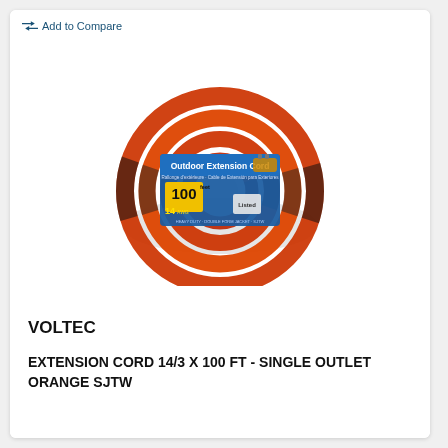Add to Compare
[Figure (photo): Coiled outdoor extension cord, orange and black, 100 feet, 14 gauge, SJTW, single outlet, with product label showing 'Outdoor Extension Cord 100ft 14 AWG']
VOLTEC
EXTENSION CORD 14/3 X 100 FT - SINGLE OUTLET ORANGE SJTW